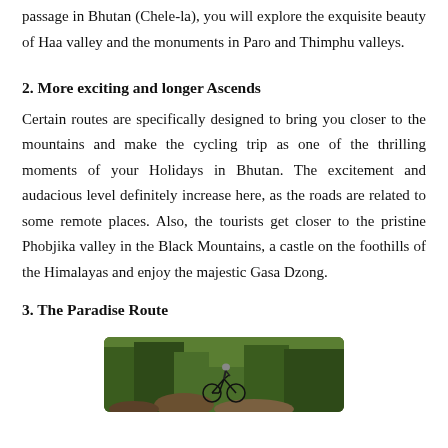passage in Bhutan (Chele-la), you will explore the exquisite beauty of Haa valley and the monuments in Paro and Thimphu valleys.
2. More exciting and longer Ascends
Certain routes are specifically designed to bring you closer to the mountains and make the cycling trip as one of the thrilling moments of your Holidays in Bhutan. The excitement and audacious level definitely increase here, as the roads are related to some remote places. Also, the tourists get closer to the pristine Phobjika valley in the Black Mountains, a castle on the foothills of the Himalayas and enjoy the majestic Gasa Dzong.
3. The Paradise Route
[Figure (photo): A cyclist on a mountain trail surrounded by green forest and rocky terrain in Bhutan]